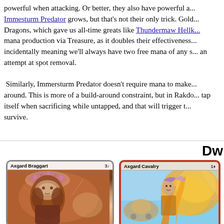powerful when attacking. Or better, they also have powerful a... Immesturm Predator grows, but that's not their only trick. Gold... Dragons, which gave us all-time greats like Thundermaw Hellk... mana production via Treasure, as it doubles their effectiveness... incidentally meaning we'll always have two free mana of any s... an attempt at spot removal.

Similarly, Immersturm Predator doesn't require mana to make... around. This is more of a build-around constraint, but in Rakdo... tap itself when sacrificing while untapped, and that will trigger t... survive.
Dw...
[Figure (illustration): Magic: The Gathering card - Axgard Braggart (3W mana cost), showing a dwarf figure with a floral hat in warm reddish-brown tones]
[Figure (illustration): Magic: The Gathering card - Axgard Cavalry (1R mana cost), showing a dynamic figure with golden flame effects against a blue sky background]